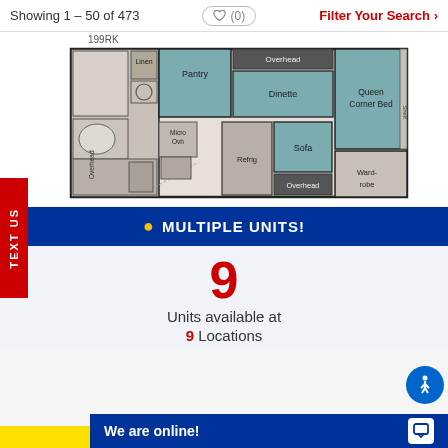Showing 1 – 50 of 473
(0)
Filter Your Search >
199RK
[Figure (schematic): RV floorplan schematic showing layout: bathroom with linen, toilet, pantry, overhead, dinette, queen corner bed, shelf, wardrobe on right side; kitchen with micro, overhead, refrigerator, sofa, and overhead storage on left/middle.]
TEXT US
MULTIPLE UNITS!
9
Units available at
9 Locations
We are online!